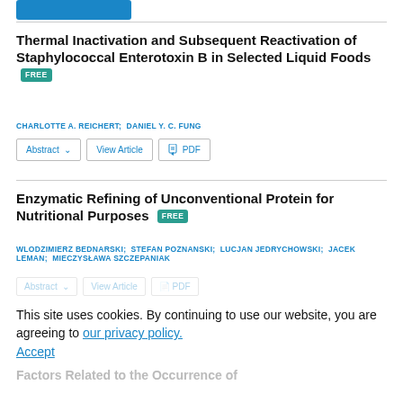Thermal Inactivation and Subsequent Reactivation of Staphylococcal Enterotoxin B in Selected Liquid Foods FREE
CHARLOTTE A. REICHERT;  DANIEL Y. C. FUNG
Abstract  View Article  PDF
Enzymatic Refining of Unconventional Protein for Nutritional Purposes FREE
WLODZIMIERZ BEDNARSKI;  STEFAN POZNANSKI;  LUCJAN JEDRYCHOWSKI;  JACEK LEMAN;  MIECZYSŁAWA SZCZEPANIAK
This site uses cookies. By continuing to use our website, you are agreeing to our privacy policy. Accept
Factors Related to the Occurrence of